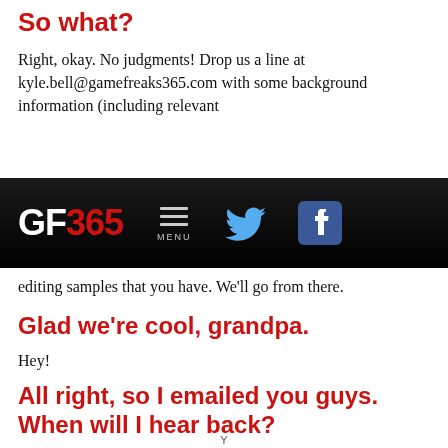So what?
Right, okay. No judgments! Drop us a line at kyle.bell@gamefreaks365.com with some background information (including relevant
[Figure (screenshot): GF365 website navigation bar with logo, menu icon, Twitter bird icon, and Facebook icon on dark/black background]
editing samples that you have. We'll go from there.
Glad we're cool, grandpa.
Hey!
All right, so I emailed you guys. When will I hear back?